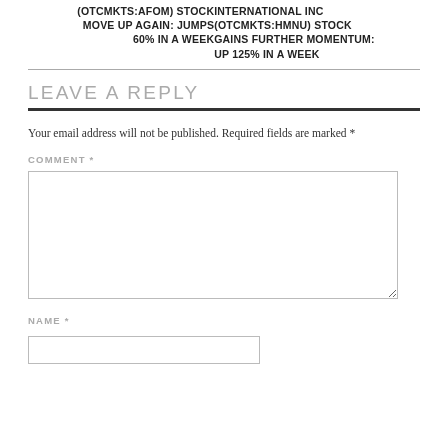(OTCMKTS:AFOM) STOCK MOVE UP AGAIN: JUMPS 60% IN A WEEK
INTERNATIONAL INC (OTCMKTS:HMNU) STOCK GAINS FURTHER MOMENTUM: UP 125% IN A WEEK
LEAVE A REPLY
Your email address will not be published. Required fields are marked *
COMMENT *
NAME *